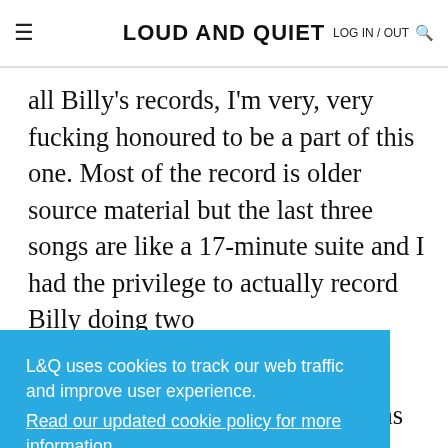LOUD AND QUIET | LOG IN / OUT
all Billy's records, I'm very, very fucking honoured to be a part of this one. Most of the record is older source material but the last three songs are like a 17-minute suite and I had the privilege to actually record Billy doing two
L&Q uses cookies to track our web traffic and improve user experience. Read our updated cookie policy for more information.
Accept
WB: In a way, I mean opera means spectacle